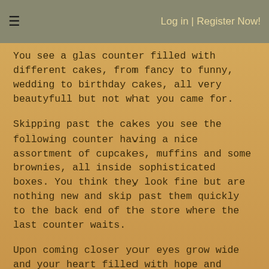≡   Log in | Register Now!
You see a glas counter filled with different cakes, from fancy to funny, wedding to birthday cakes, all very beautyfull but not what you came for.
Skipping past the cakes you see the following counter having a nice assortment of cupcakes, muffins and some brownies, all inside sophisticated boxes. You think they look fine but are nothing new and skip past them quickly to the back end of the store where the last counter waits.
Upon coming closer your eyes grow wide and your heart filled with hope and dreams as you gaze upon boxes which seem to contain small confectionery. In the heat of the moment you pick the prettiest one out, buy it and take it home with you.
After getting comfy you open it and take a bite with great anticipation just to be met with hard and